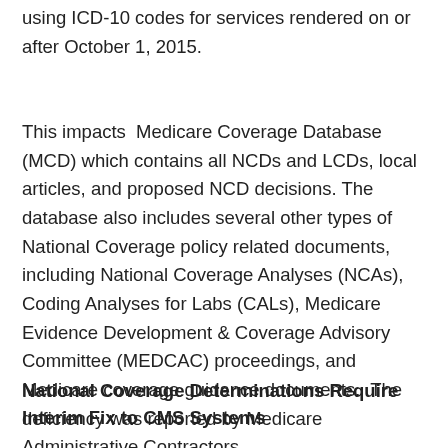using ICD-10 codes for services rendered on or after October 1, 2015.
This impacts  Medicare Coverage Database (MCD) which contains all NCDs and LCDs, local articles, and proposed NCD decisions. The database also includes several other types of National Coverage policy related documents, including National Coverage Analyses (NCAs), Coding Analyses for Labs (CALs), Medicare Evidence Development & Coverage Advisory Committee (MEDCAC) proceedings, and Medicare coverage guidance documents.  The deficiency was reported by Medicare Administrative Contractors.
National Coverage Determinations Require Interim Fix to CMS Systems